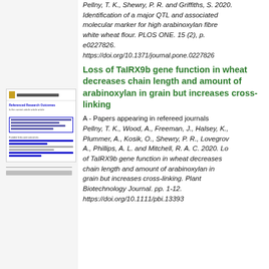Pellny, T. K., Shewry, P. R. and Griffiths, S. 2020. Identification of a major QTL and associated molecular marker for high arabinoxylan fibre white wheat flour. PLOS ONE. 15 (2), p. e0227826.
https://doi.org/10.1371/journal.pone.0227826
[Figure (screenshot): Thumbnail preview of an academic article page showing blue title links, text content, and a highlighted box]
Loss of TaIRX9b gene function in wheat decreases chain length and amount of arabinoxylan in grain but increases cross-linking
A - Papers appearing in refereed journals
Pellny, T. K., Wood, A., Freeman, J., Halsey, K., Plummer, A., Kosik, O., Shewry, P. R., Lovegrove, A., Phillips, A. L. and Mitchell, R. A. C. 2020. Loss of TaIRX9b gene function in wheat decreases chain length and amount of arabinoxylan in grain but increases cross-linking. Plant Biotechnology Journal. pp. 1-12. https://doi.org/10.1111/pbi.13393